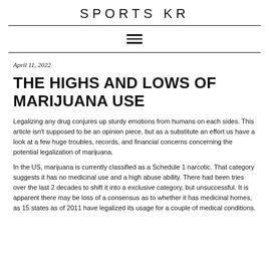SPORTS KR
April 11, 2022
THE HIGHS AND LOWS OF MARIJUANA USE
Legalizing any drug conjures up sturdy emotions from humans on each sides. This article isn't supposed to be an opinion piece, but as a substitute an effort us have a look at a few huge troubles, records, and financial concerns concerning the potential legalization of marijuana.
In the US, marijuana is currently classified as a Schedule 1 narcotic. That category suggests it has no medicinal use and a high abuse ability. There had been tries over the last 2 decades to shift it into a exclusive category, but unsuccessful. It is apparent there may be loss of a consensus as to whether it has medicinal homes, as 15 states as of 2011 have legalized its usage for a couple of medical conditions.